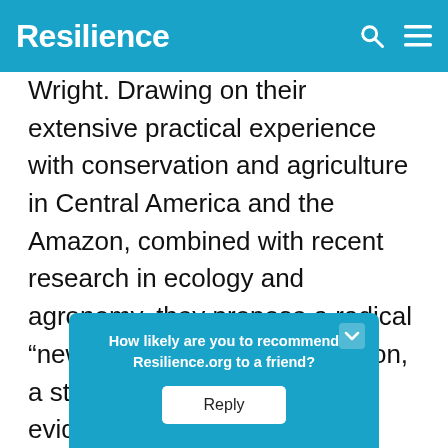Resilience
Wright. Drawing on their extensive practical experience with conservation and agriculture in Central America and the Amazon, combined with recent research in ecology and agronomy, they propose a radical “new paradigm” for conservation, a strategy based on powerful evidence that preserving biodiversity is inseparable from the greatest challenges for human
How likely are you to recommend Resilience.org to a friend? Reply